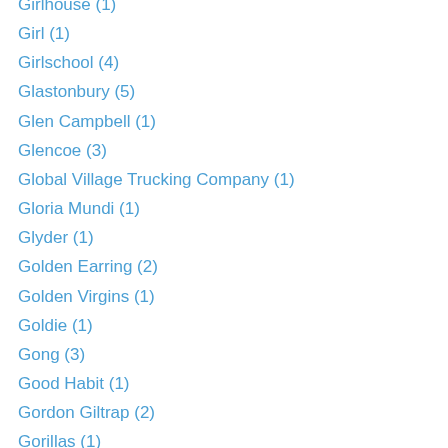Girlhouse (1)
Girl (1)
Girlschool (4)
Glastonbury (5)
Glen Campbell (1)
Glencoe (3)
Global Village Trucking Company (1)
Gloria Mundi (1)
Glyder (1)
Golden Earring (2)
Golden Virgins (1)
Goldie (1)
Gong (3)
Good Habit (1)
Gordon Giltrap (2)
Gorillas (1)
Gorillaz (1)
Graduate (1)
Graham Parker (3)
Graham Parker and the Rumour (4)